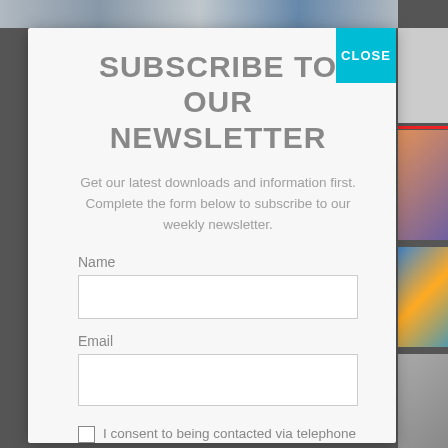SUBSCRIBE TO OUR NEWSLETTER
Get our latest downloads and information first. Complete the form below to subscribe to our weekly newsletter.
Name
Email
I consent to being contacted via telephone and/or email and I consent to